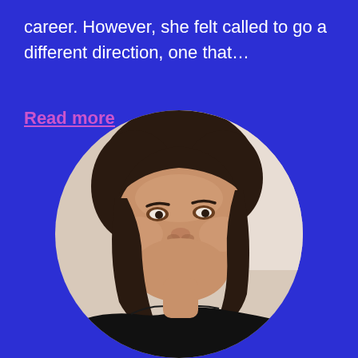career. However, she felt called to go a different direction, one that...
Read more
[Figure (photo): Circular portrait photo of a smiling woman with short dark brown bob haircut, wearing a black off-shoulder top, photographed against a light/white background.]